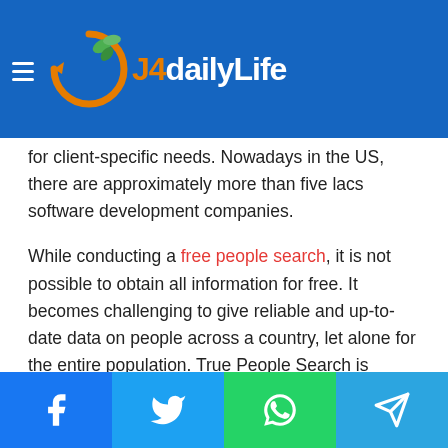J4dailyLife logo with navigation hamburger menu
for client-specific needs. Nowadays in the US, there are approximately more than five lacs software development companies.
While conducting a free people search, it is not possible to obtain all information for free. It becomes challenging to give reliable and up-to-date data on people across a country, let alone for the entire population. True People Search is always striving to deliver correct information to the vast majority of individuals in a country.
Click here to know more about : forbes and Learn why : newsvalley on Fubo is a high-risk, high-reward play :
Facebook, Twitter, WhatsApp, Telegram share buttons